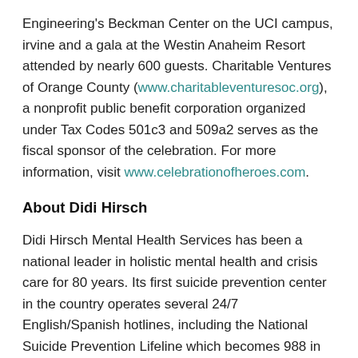Engineering's Beckman Center on the UCI campus, irvine and a gala at the Westin Anaheim Resort attended by nearly 600 guests. Charitable Ventures of Orange County (www.charitableventuresoc.org), a nonprofit public benefit corporation organized under Tax Codes 501c3 and 509a2 serves as the fiscal sponsor of the celebration. For more information, visit www.celebrationofheroes.com.
About Didi Hirsch
Didi Hirsch Mental Health Services has been a national leader in holistic mental health and crisis care for 80 years. Its first suicide prevention center in the country operates several 24/7 English/Spanish hotlines, including the National Suicide Prevention Lifeline which becomes 988 in July 2022the National Disaster Hotline for those emotionally hurt by natural or man-made disasters, a new line diverting LAPD 911 calls disproportionately connecting young Black and Latino men to